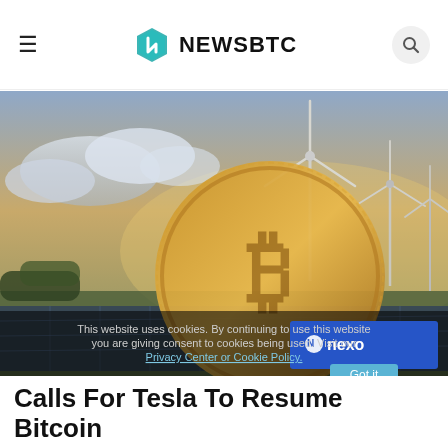≡ NEWSBTC 🔍
[Figure (photo): Hero image showing Bitcoin coin in foreground with wind turbines and solar panels in background under cloudy sky, with a Nexo advertisement overlay in bottom right corner and cookie consent notice overlay at bottom]
Calls For Tesla To Resume Bitcoin